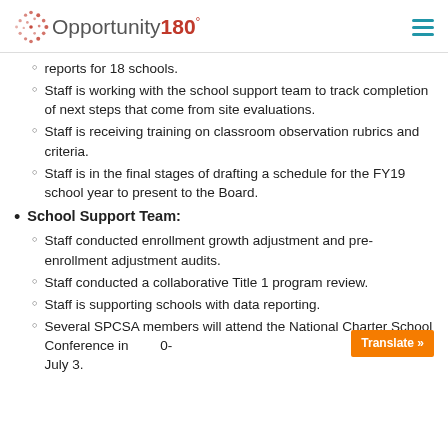Opportunity180°
reports for 18 schools.
Staff is working with the school support team to track completion of next steps that come from site evaluations.
Staff is receiving training on classroom observation rubrics and criteria.
Staff is in the final stages of drafting a schedule for the FY19 school year to present to the Board.
School Support Team:
Staff conducted enrollment growth adjustment and pre-enrollment adjustment audits.
Staff conducted a collaborative Title 1 program review.
Staff is supporting schools with data reporting.
Several SPCSA members will attend the National Charter School Conference in …0- July 3.